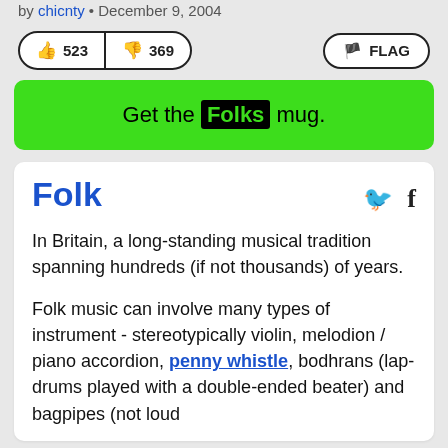by chicnty • December 9, 2004
[Figure (other): Vote buttons showing thumbs up 523 and thumbs down 369, and a FLAG button on the right]
Get the Folks mug.
Folk
In Britain, a long-standing musical tradition spanning hundreds (if not thousands) of years.
Folk music can involve many types of instrument - stereotypically violin, melodion / piano accordion, penny whistle, bodhrans (lap-drums played with a double-ended beater) and bagpipes (not loud